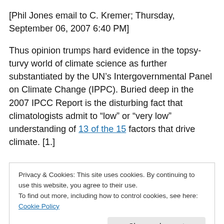[Phil Jones email to C. Kremer; Thursday, September 06, 2007 6:40 PM]
Thus opinion trumps hard evidence in the topsy-turvy world of climate science as further substantiated by the UN’s Intergovernmental Panel on Climate Change (IPPC). Buried deep in the 2007 IPCC Report is the disturbing fact that climatologists admit to “low” or “very low” understanding of 13 of the 15 factors that drive climate. [1.]
Privacy & Cookies: This site uses cookies. By continuing to use this website, you agree to their use.
To find out more, including how to control cookies, see here: Cookie Policy
Close and accept
opinions (dressed as ‘fact’). He and his co-conspirators